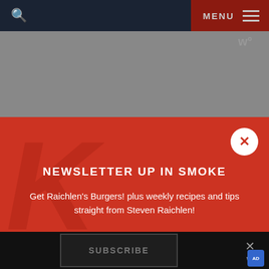MENU
RECIPE STEPS
NEWSLETTER UP IN SMOKE
Get Raichlen's Burgers! plus weekly recipes and tips straight from Steven Raichlen!
Email
SUBSCRIBE